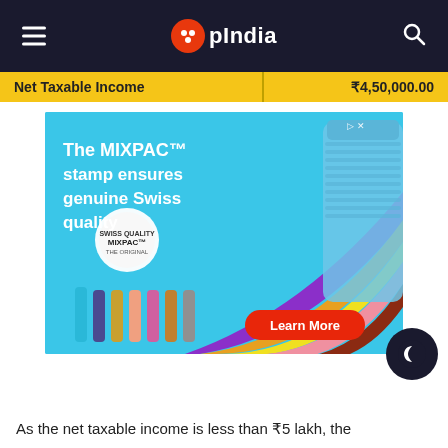OpIndia
| Net Taxable Income | ₹4,50,000.00 |
| --- | --- |
| Net Taxable Income | ₹4,50,000.00 |
[Figure (photo): Advertisement for MIXPAC dental/mixing stamp product with text 'The MIXPAC stamp ensures genuine Swiss quality' and a Learn More button, showing colorful dental mixing tips and a blue product cap.]
As the net taxable income is less than ₹5 lakh, the